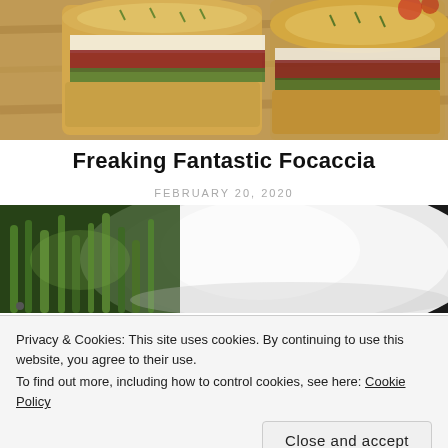[Figure (photo): Overhead view of focaccia sandwiches cut and stacked, showing layers of meat, cheese, and greens between thick golden focaccia bread slices on a wooden surface.]
Freaking Fantastic Focaccia
FEBRUARY 20, 2020
[Figure (photo): Close-up photo of a white plate with green asparagus or lettuce leaves, partially cropped.]
Privacy & Cookies: This site uses cookies. By continuing to use this website, you agree to their use.
To find out more, including how to control cookies, see here: Cookie Policy
Close and accept